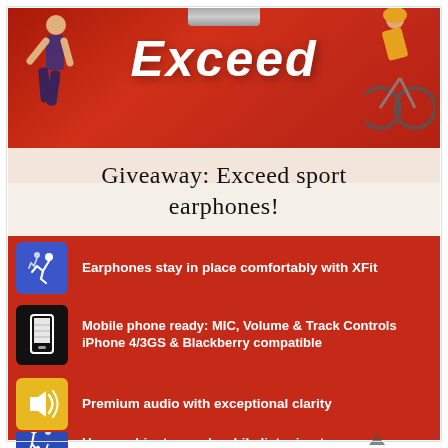[Figure (photo): Product packaging photo for Exceed sport earphones showing athletes (runner and cyclist) in background on red packaging, with 'Exceed' brand name visible]
Giveaway: Exceed sport earphones!
Earphones stay in place comfortably with XFit
Mobile phone ready: MIC, Volume & Track Controls iPhone 4/3GS & Blackberry compatible
Premium audio with exceptional clarity
Hear ambient sounds while listening to music